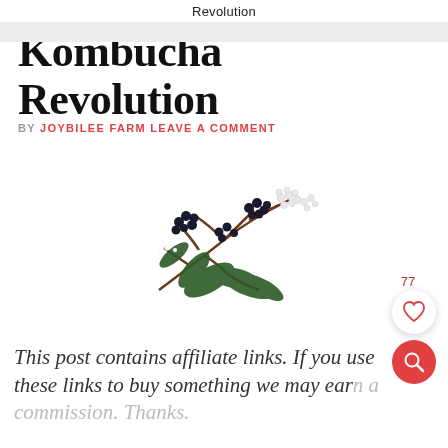Revolution
Kombucha Revolution
BY JOYBILEE FARM LEAVE A COMMENT
[Figure (illustration): Elderberry branch with dark berries and white flowers on a white background]
77
This post contains affiliate links. If you use these links to buy something we may earn a commission. Thanks.